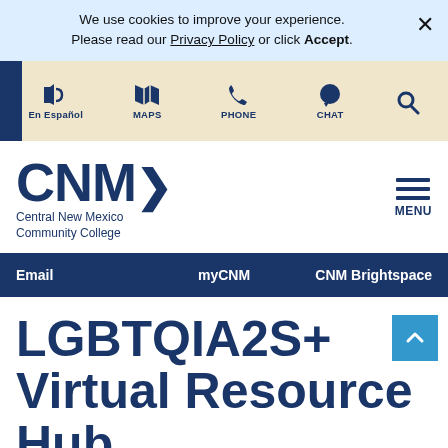We use cookies to improve your experience. Please read our Privacy Policy or click Accept.
[Figure (screenshot): Navigation icon bar with En Español, MAPS, PHONE, CHAT icons and search icon on beige background with dark navy left wedge]
[Figure (logo): CNM Central New Mexico Community College logo in dark navy blue with arrow mark]
Email   myCNM   CNM Brightspace
LGBTQIA2S+ Virtual Resource Hub